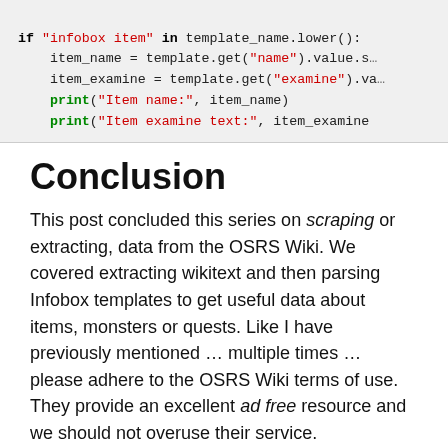[Figure (screenshot): Python code snippet showing: if 'infobox item' in template_name.lower(): item_name = template.get('name').value.s... item_examine = template.get('examine').va... print('Item name:', item_name) print('Item examine text:', item_examine)]
Conclusion
This post concluded this series on scraping or extracting, data from the OSRS Wiki. We covered extracting wikitext and then parsing Infobox templates to get useful data about items, monsters or quests. Like I have previously mentioned … multiple times … please adhere to the OSRS Wiki terms of use. They provide an excellent ad free resource and we should not overuse their service.
You can also check out some Python tools I have written to extract data from the OSRS Wiki for my OSRS Item Database project (osrsbox-db). They are available on my OSRSBox GitHub database repository. Until next time…